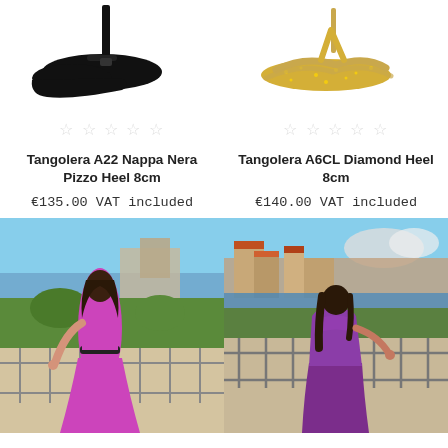[Figure (photo): Black high heel shoe (Tangolera A22 Nappa Nera Pizzo) on white background, top portion visible]
[Figure (photo): Gold/glitter flat sandal (Tangolera A6CL Diamond) on white background, top portion visible]
☆☆☆☆☆
☆☆☆☆☆
Tangolera A22 Nappa Nera Pizzo Heel 8cm
Tangolera A6CL Diamond Heel 8cm
€135.00 VAT included
€140.00 VAT included
[Figure (photo): Woman in magenta/purple long dress standing on a balcony with railing, scenic coastal Italian town in background with sea and sky]
[Figure (photo): Woman in purple short dress from behind, standing at balcony railing, Italian coastal town with red-roofed buildings and sea in background]